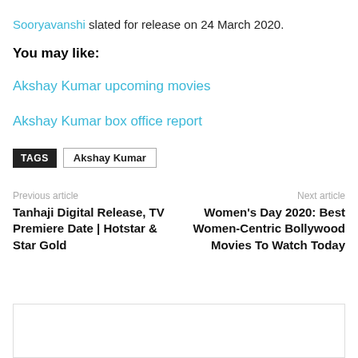Sooryavanshi slated for release on 24 March 2020.
You may like:
Akshay Kumar upcoming movies
Akshay Kumar box office report
TAGS  Akshay Kumar
Previous article
Tanhaji Digital Release, TV Premiere Date | Hotstar & Star Gold
Next article
Women's Day 2020: Best Women-Centric Bollywood Movies To Watch Today